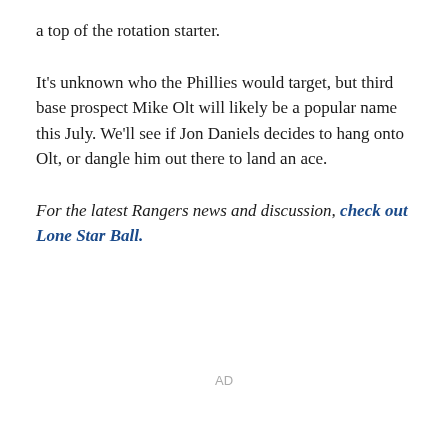a top of the rotation starter.
It's unknown who the Phillies would target, but third base prospect Mike Olt will likely be a popular name this July. We'll see if Jon Daniels decides to hang onto Olt, or dangle him out there to land an ace.
For the latest Rangers news and discussion, check out Lone Star Ball.
AD